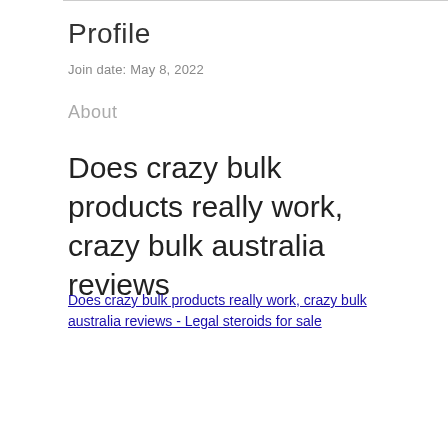Profile
Join date: May 8, 2022
About
Does crazy bulk products really work, crazy bulk australia reviews
Does crazy bulk products really work, crazy bulk australia reviews - Legal steroids for sale
[Figure (photo): Blurred dark promotional image with overlay dots menu button]